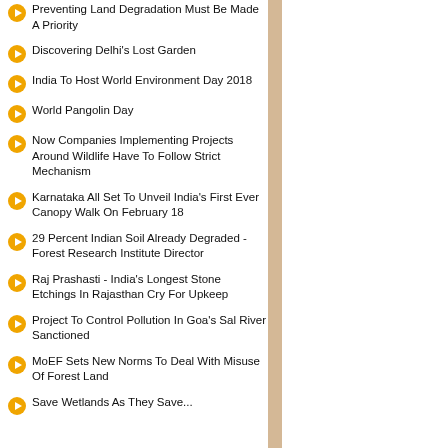Preventing Land Degradation Must Be Made A Priority
Discovering Delhi's Lost Garden
India To Host World Environment Day 2018
World Pangolin Day
Now Companies Implementing Projects Around Wildlife Have To Follow Strict Mechanism
Karnataka All Set To Unveil India's First Ever Canopy Walk On February 18
29 Percent Indian Soil Already Degraded - Forest Research Institute Director
Raj Prashasti - India's Longest Stone Etchings In Rajasthan Cry For Upkeep
Project To Control Pollution In Goa's Sal River Sanctioned
MoEF Sets New Norms To Deal With Misuse Of Forest Land
Save Wetlands As They Save...